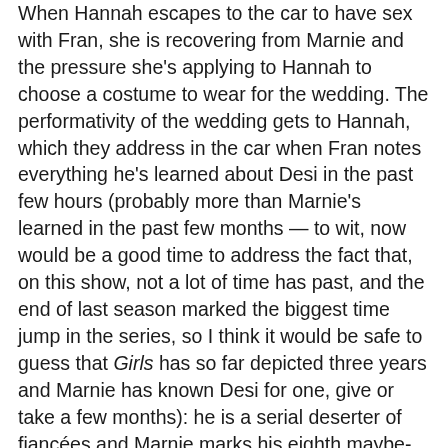When Hannah escapes to the car to have sex with Fran, she is recovering from Marnie and the pressure she's applying to Hannah to choose a costume to wear for the wedding. The performativity of the wedding gets to Hannah, which they address in the car when Fran notes everything he's learned about Desi in the past few hours (probably more than Marnie's learned in the past few months — to wit, now would be a good time to address the fact that, on this show, not a lot of time has past, and the end of last season marked the biggest time jump in the series, so I think it would be safe to guess that Girls has so far depicted three years and Marnie has known Desi for one, give or take a few months): he is a serial deserter of fiancées and Marnie marks his eighth maybe-to-be-abandoned stab at matrimony. He has bailed on all his other brides. I am excited to see where this goes if Fran can divulge like Hannah — Adam would not have delivered this information within the context of "can you believe this guy?". If Adam was telling Hannah about it, it would be because it repulsed him, and he would judge Hannah's lack of desire to address it with Marnie. But Fran just expresses surprise that Marnie wouldn't already be onto this facet of who Desi is, to which Hannah deadpans, "You'd be surprised how much she can miss."